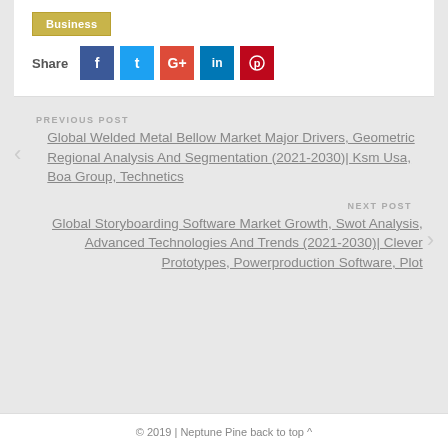Business
Share
PREVIOUS POST
Global Welded Metal Bellow Market Major Drivers, Geometric Regional Analysis And Segmentation (2021-2030)| Ksm Usa, Boa Group, Technetics
NEXT POST
Global Storyboarding Software Market Growth, Swot Analysis, Advanced Technologies And Trends (2021-2030)| Clever Prototypes, Powerproduction Software, Plot
© 2019 | Neptune Pine back to top ^